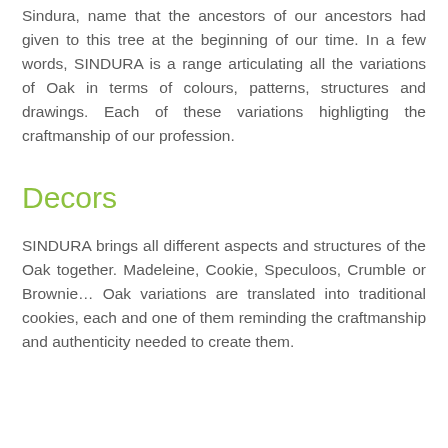Sindura, name that the ancestors of our ancestors had given to this tree at the beginning of our time. In a few words, SINDURA is a range articulating all the variations of Oak in terms of colours, patterns, structures and drawings. Each of these variations highligting the craftmanship of our profession.
Decors
SINDURA brings all different aspects and structures of the Oak together. Madeleine, Cookie, Speculoos, Crumble or Brownie… Oak variations are translated into traditional cookies, each and one of them reminding the craftmanship and authenticity needed to create them.